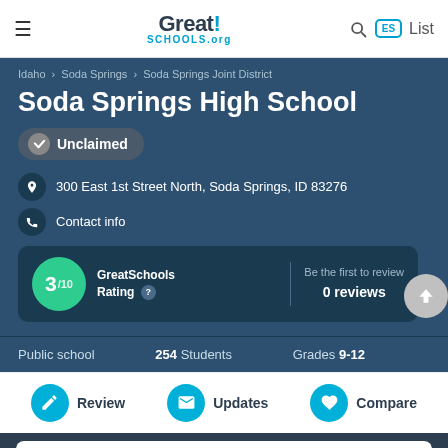GreatSchools.org — navigation bar with hamburger menu, logo, search, ES badge, List
Idaho › Soda Springs › Soda Springs Joint District
Soda Springs High School
Unclaimed
300 East 1st Street North, Soda Springs, ID 83276
Contact info
GreatSchools Rating 3/10 | Be the first to review 0 reviews
Public school  254 Students  Grades 9-12
Review  Updates  Compare